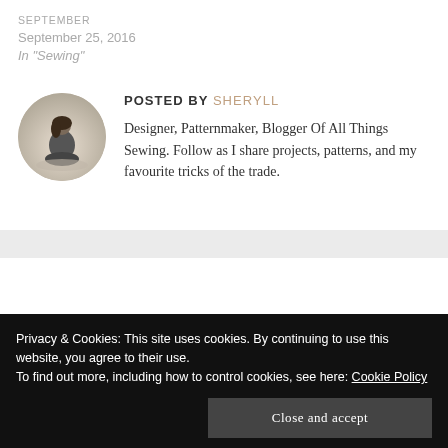SEPTEMBER
September 25, 2016
In "Sewing"
POSTED BY SHERYLL
[Figure (photo): Circular avatar photo of a person sitting cross-legged on a misty/foggy background]
Designer, Patternmaker, Blogger Of All Things Sewing. Follow as I share projects, patterns, and my favourite tricks of the trade.
Privacy & Cookies: This site uses cookies. By continuing to use this website, you agree to their use.
To find out more, including how to control cookies, see here: Cookie Policy
Close and accept
28 THOUGHTS ON "BUST DARTS – UP OR